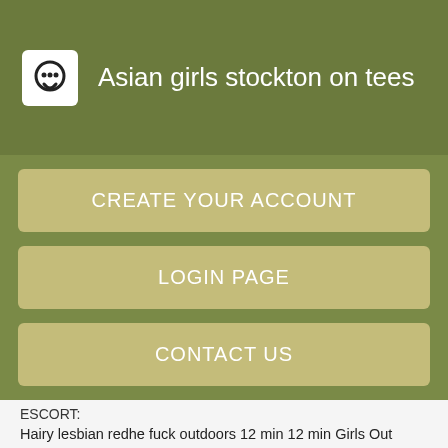Asian girls stockton on tees
CREATE YOUR ACCOUNT
LOGIN PAGE
CONTACT US
ESCORT:
Hairy lesbian redhe fuck outdoors 12 min 12 min Girls Out West - k Views. Reduce the risk of urinary tract infections UTIssuch as cystitis by keeping the bladder clear of bacteria. Water loss may increase in hot weather and with prolonged exercise.
Magic therapy massage visalia:
'australian lesbian kiss' Search - www.catalunyarecerca.info
Sexy women make out in australia:
Duluth model massage